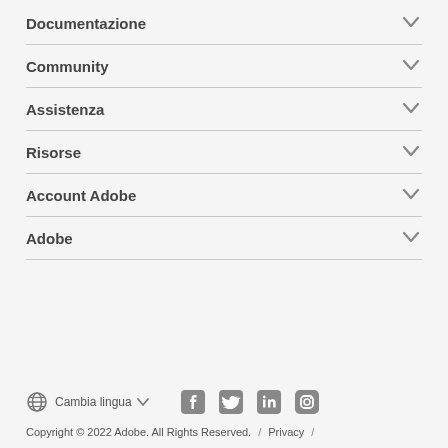Documentazione
Community
Assistenza
Risorse
Account Adobe
Adobe
Cambia lingua / Social icons: Facebook, Twitter, LinkedIn, Instagram / Copyright © 2022 Adobe. All Rights Reserved. / Privacy /